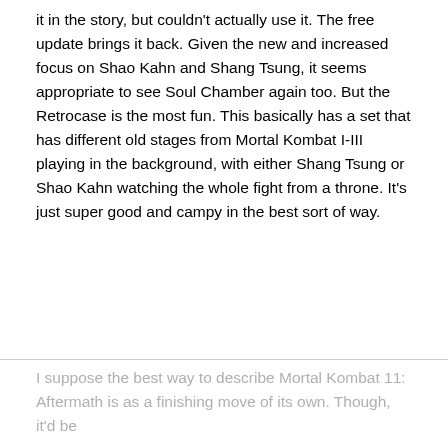it in the story, but couldn't actually use it. The free update brings it back. Given the new and increased focus on Shao Kahn and Shang Tsung, it seems appropriate to see Soul Chamber again too. But the Retrocase is the most fun. This basically has a set that has different old stages from Mortal Kombat I-III playing in the background, with either Shang Tsung or Shao Kahn watching the whole fight from a throne. It's just super good and campy in the best sort of way.
I suppose the best way to describe Mortal Kombat 11: Aftermath is as a finishing move of its own. Though, it'd be